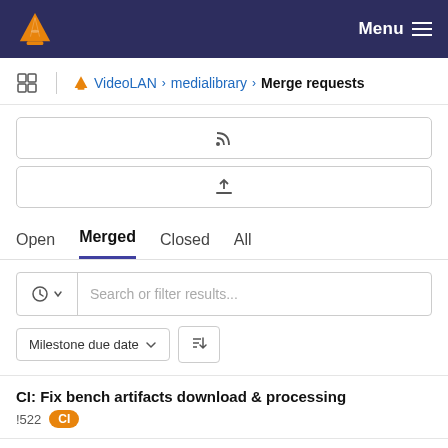VLC Menu
VideoLAN › medialibrary › Merge requests
[Figure (screenshot): RSS feed button icon]
[Figure (screenshot): Upload/export button icon]
Open  Merged  Closed  All
Search or filter results...
Milestone due date ∨  sort icon
CI: Fix bench artifacts download & processing
!522  CI
CI: Fix benchmark jobs needs & dependencies